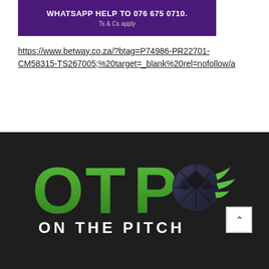[Figure (infographic): Purple banner with white bold text: WHATSAPP HELP TO 076 675 0710. Ts & Cs apply]
https://www.betway.co.za/?btag=P74986-PR22701-CM58315-TS267005;%20target=_blank%20rel=nofollow/a
[Figure (logo): OTP On The Pitch logo on dark background. Large green 3D letters OTP with a soccer ball graphic. White text ON THE PITCH below.]